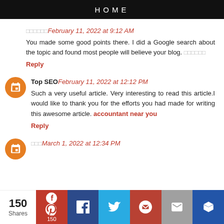HOME
□□□□□□ February 11, 2022 at 9:12 AM
You made some good points there. I did a Google search about the topic and found most people will believe your blog. □□□□□□
Reply
Top SEO February 11, 2022 at 12:12 PM
Such a very useful article. Very interesting to read this article.I would like to thank you for the efforts you had made for writing this awesome article. accountant near you
Reply
□□□ March 1, 2022 at 12:34 PM
150 Shares